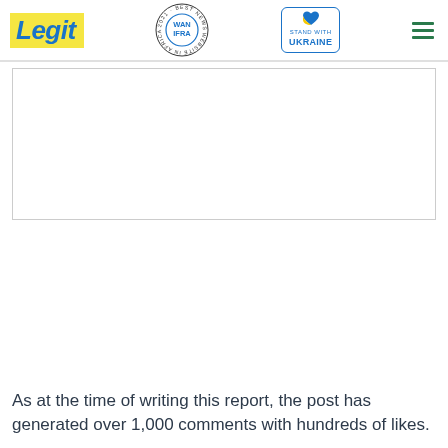Legit | WAN-IFRA 2021 Best News Website in Africa | Stand with Ukraine
[Figure (other): Advertisement placeholder box with border]
As at the time of writing this report, the post has generated over 1,000 comments with hundreds of likes.